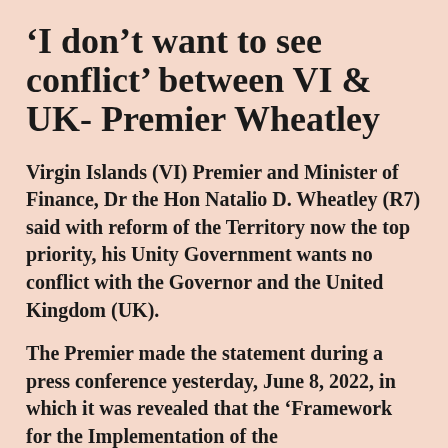'I don't want to see conflict' between VI & UK- Premier Wheatley
Virgin Islands (VI) Premier and Minister of Finance, Dr the Hon Natalio D. Wheatley (R7) said with reform of the Territory now the top priority, his Unity Government wants no conflict with the Governor and the United Kingdom (UK).
The Premier made the statement during a press conference yesterday, June 8, 2022, in which it was revealed that the 'Framework for the Implementation of the Recommendations of the Commission of Inquiry Report and Other Reforms...